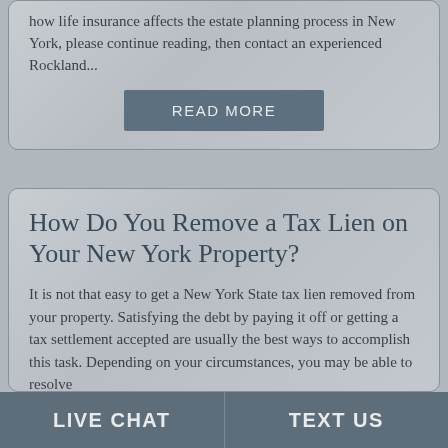how life insurance affects the estate planning process in New York, please continue reading, then contact an experienced Rockland...
READ MORE
How Do You Remove a Tax Lien on Your New York Property?
It is not that easy to get a New York State tax lien removed from your property. Satisfying the debt by paying it off or getting a tax settlement accepted are usually the best ways to accomplish this task. Depending on your circumstances, you may be able to resolve
LIVE CHAT   TEXT US